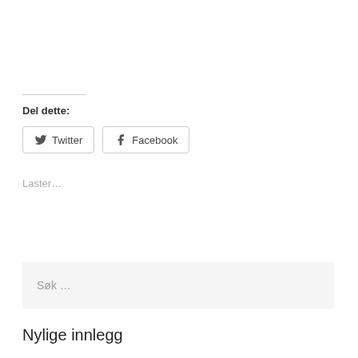Del dette:
Twitter  Facebook
Laster...
Søk …
Nylige innlegg